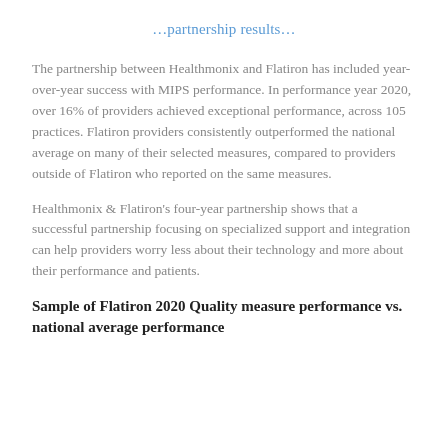…partnership results…
The partnership between Healthmonix and Flatiron has included year-over-year success with MIPS performance. In performance year 2020, over 16% of providers achieved exceptional performance, across 105 practices. Flatiron providers consistently outperformed the national average on many of their selected measures, compared to providers outside of Flatiron who reported on the same measures.
Healthmonix & Flatiron's four-year partnership shows that a successful partnership focusing on specialized support and integration can help providers worry less about their technology and more about their performance and patients.
Sample of Flatiron 2020 Quality measure performance vs. national average performance